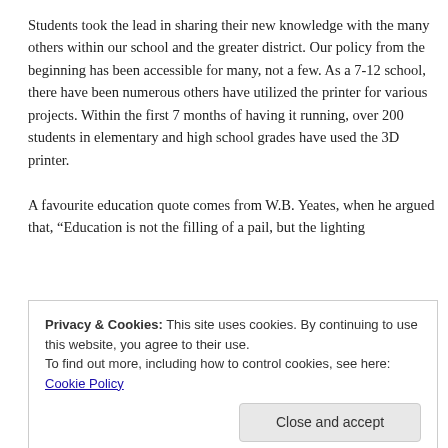Students took the lead in sharing their new knowledge with the many others within our school and the greater district. Our policy from the beginning has been accessible for many, not a few. As a 7-12 school, there have been numerous others have utilized the printer for various projects. Within the first 7 months of having it running, over 200 students in elementary and high school grades have used the 3D printer.

A favourite education quote comes from W.B. Yeates, when he argued that, “Education is not the filling of a pail, but the lighting
Privacy & Cookies: This site uses cookies. By continuing to use this website, you agree to their use.
To find out more, including how to control cookies, see here: Cookie Policy
Close and accept
curiosity in our students.